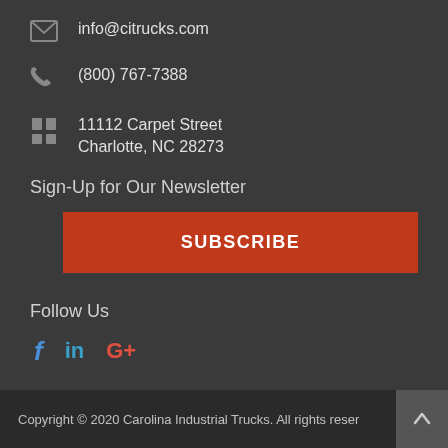info@citrucks.com
(800) 767-7388
11112 Carpet Street
Charlotte, NC 28273
Sign-Up for Our Newsletter
SUBSCRIBE
Follow Us
[Figure (infographic): Social media icons: Facebook (f), LinkedIn (in), Google+ (G+)]
Copyright © 2020 Carolina Industrial Trucks. All rights reserved.